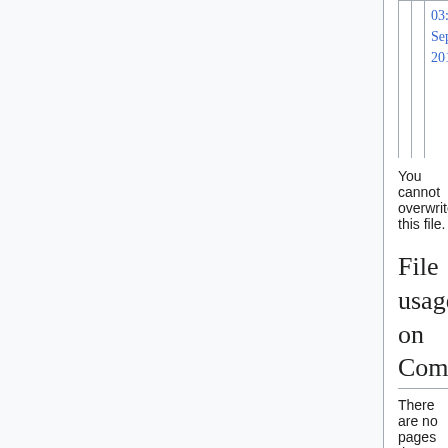|  |  | 03:5
Sep
2012 |
You cannot overwrite this file.
File usage on Commons
There are no pages that use this file.
Metadata
This file contains additional information such as Exif metadata which may have been added by the digital camera, scanner, or software program used to create or digitize it. If the file has been modified from its original state, some details such as the timestamp may not fully reflect those of the original file. The timestamp is only as accurate as the clock in the camera, and it may be